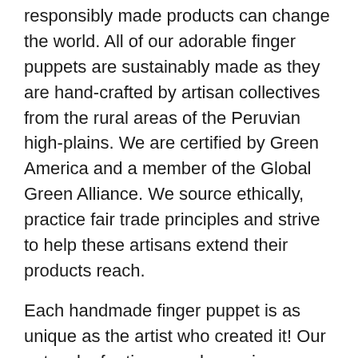responsibly made products can change the world. All of our adorable finger puppets are sustainably made as they are hand-crafted by artisan collectives from the rural areas of the Peruvian high-plains. We are certified by Green America and a member of the Global Green Alliance. We source ethically, practice fair trade principles and strive to help these artisans extend their products reach.
Each handmade finger puppet is as unique as the artist who created it! Our network of artisan-producers is comprised of 800+ talented individuals who are encouraged to use their creativity to the fullest! Most work from home using their passion and skills to create these colorful finger puppets which help supplement their family's income. These toys are special, they are not made in a factory, they are handmade with love!